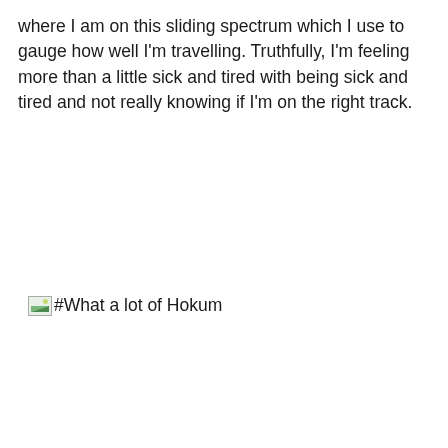where I am on this sliding spectrum which I use to gauge how well I'm travelling. Truthfully, I'm feeling more than a little sick and tired with being sick and tired and not really knowing if I'm on the right track.
[Figure (other): Broken image placeholder with alt text '#What a lot of Hokum']